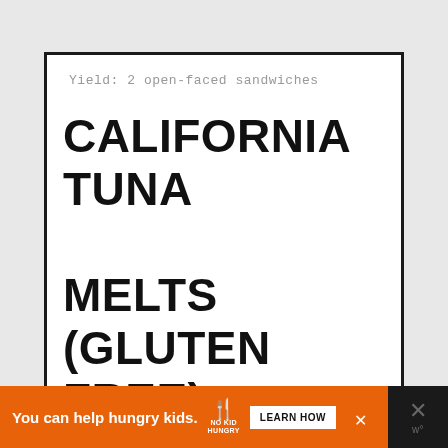Yield: 2 open-faced sandwiches
CALIFORNIA TUNA MELTS (GLUTEN FREE)
[Figure (other): Advertisement banner: orange background with 'You can help hungry kids.' text, No Kid Hungry logo with fork icon, LEARN HOW button, and close X. Right side has dark background with X logo and W° mark.]